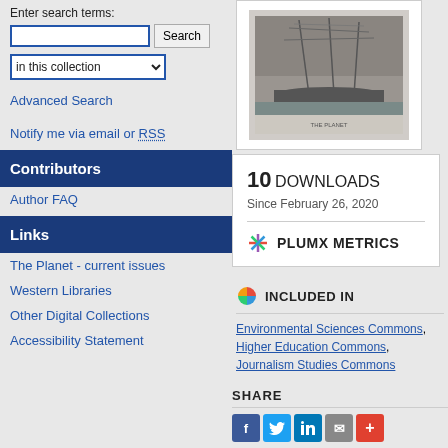Enter search terms:
in this collection
Advanced Search
Notify me via email or RSS
Contributors
Author FAQ
Links
The Planet - current issues
Western Libraries
Other Digital Collections
Accessibility Statement
[Figure (photo): Black and white photo of a ship with masts, journal cover image]
10 DOWNLOADS
Since February 26, 2020
PLUMX METRICS
INCLUDED IN
Environmental Sciences Commons, Higher Education Commons, Journalism Studies Commons
SHARE